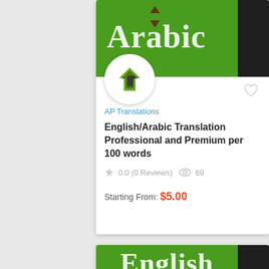[Figure (screenshot): Service listing card for AP Translations showing an Arabic translation gig with green banner, seller logo, rating, and price]
AP Translations
English/Arabic Translation Professional and Premium per 100 words
0.0 (0 Reviews)  69
Starting From: $5.00
[Figure (screenshot): Partial second service listing card with green banner showing the word 'English']